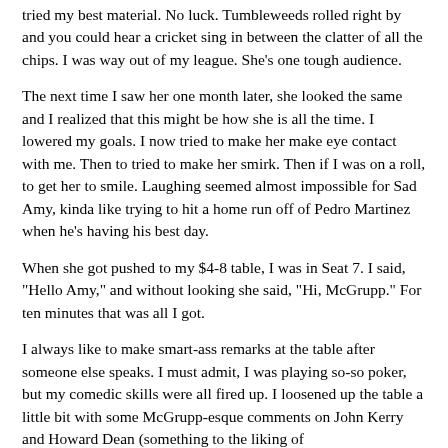tried my best material. No luck. Tumbleweeds rolled right by and you could hear a cricket sing in between the clatter of all the chips. I was way out of my league. She's one tough audience.
The next time I saw her one month later, she looked the same and I realized that this might be how she is all the time. I lowered my goals. I now tried to make her make eye contact with me. Then to tried to make her smirk. Then if I was on a roll, to get her to smile. Laughing seemed almost impossible for Sad Amy, kinda like trying to hit a home run off of Pedro Martinez when he's having his best day.
When she got pushed to my $4-8 table, I was in Seat 7. I said, "Hello Amy," and without looking she said, "Hi, McGrupp." For ten minutes that was all I got.
I always like to make smart-ass remarks at the table after someone else speaks. I must admit, I was playing so-so poker, but my comedic skills were all fired up. I loosened up the table a little bit with some McGrupp-esque comments on John Kerry and Howard Dean (something to the liking of